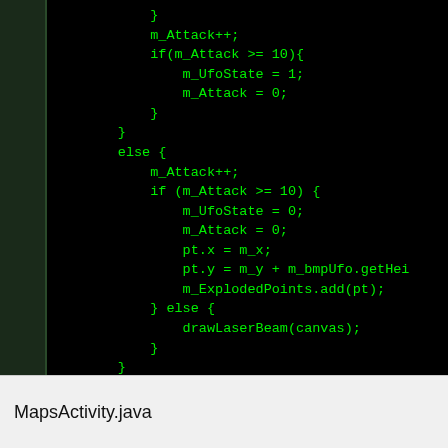[Figure (screenshot): Screenshot of Java source code on black background with green monospace text showing control flow logic with m_Attack, m_UfoState, m_ExplodedPoints, drawLaserBeam, and closing braces.]
MapsActivity.java